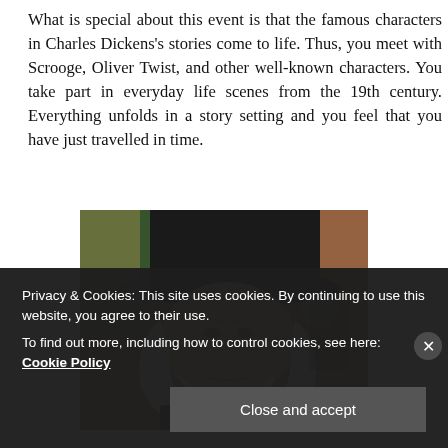What is special about this event is that the famous characters in Charles Dickens's stories come to life. Thus, you meet with Scrooge, Oliver Twist, and other well-known characters. You take part in everyday life scenes from the 19th century. Everything unfolds in a story setting and you feel that you have just travelled in time.
[Figure (photo): A man dressed as a Charles Dickens character wearing a black top hat, with long white hair and beard, looking downward, in an outdoor street setting.]
Privacy & Cookies: This site uses cookies. By continuing to use this website, you agree to their use.
To find out more, including how to control cookies, see here: Cookie Policy